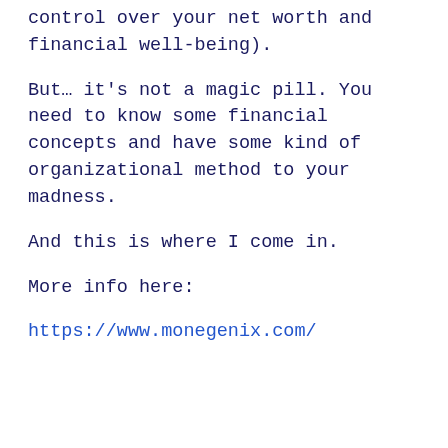control over your net worth and financial well-being).
But… it's not a magic pill. You need to know some financial concepts and have some kind of organizational method to your madness.
And this is where I come in.
More info here:
https://www.monegenix.com/